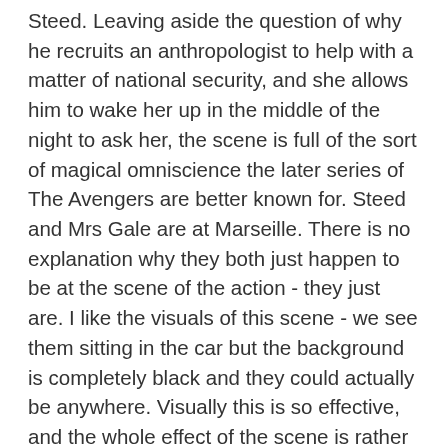Steed. Leaving aside the question of why he recruits an anthropologist to help with a matter of national security, and she allows him to wake her up in the middle of the night to ask her, the scene is full of the sort of magical omniscience the later series of The Avengers are better known for. Steed and Mrs Gale are at Marseille. There is no explanation why they both just happen to be at the scene of the action - they just are. I like the visuals of this scene - we see them sitting in the car but the background is completely black and they could actually be anywhere. Visually this is so effective, and the whole effect of the scene is rather disorientating, rather the way one feels while 'in transit'.
'Terrible bore hanging about in airports, isn't it,' says Steed to a man in the airport, thereby indicating that this mode of travel is old hat to him. In comparison to the visual effect of the last scene in the car, I love the way the sirport set gives a much more amateurish effect. It is very obviously a set indeed and this effect remains throughout the episode.
I love that Steed is his old shady self in this one. He enveigles